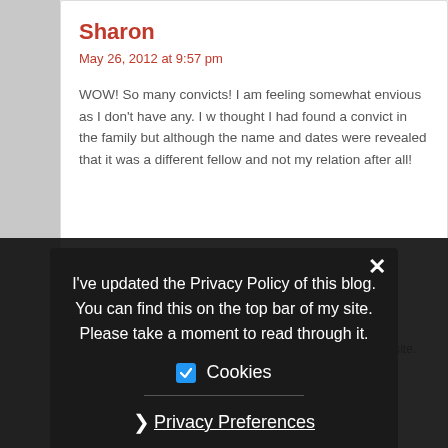Sharon
May 26, 2012 at 9:57 pm
WOW! So many convicts! I am feeling somewhat envious as I don't have any. I thought I had found a convict in the family but although the name and dates were revealed that it was a different fellow and not my relation after all!
Frances
I've updated the Privacy Policy of this blog. You can find this on the top bar of my site. Please take a moment to read through it.
Cookies
Privacy Preferences
I Agree
Alana